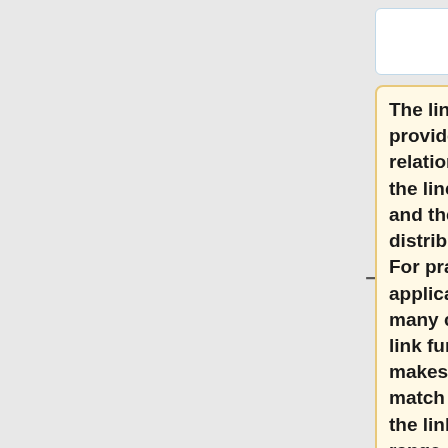The link function, g(u), provides the relationship between the linear predictor and the mean of the distribution function. For practical applications there are many commonly used link functions. It makes sense to try to match the domain of the link function to the range of the distribution function's